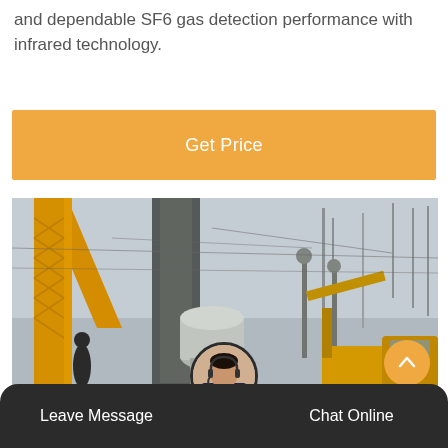and dependable SF6 gas detection performance with infrared technology.
Get Price
[Figure (photo): Industrial construction site with yellow cranes, electrical substation towers with high-voltage equipment, and a yellow truck (ISUZU) in the foreground. Large cylindrical gas equipment (likely SF6 equipment) is visible in the center.]
Leave Message   Chat Online